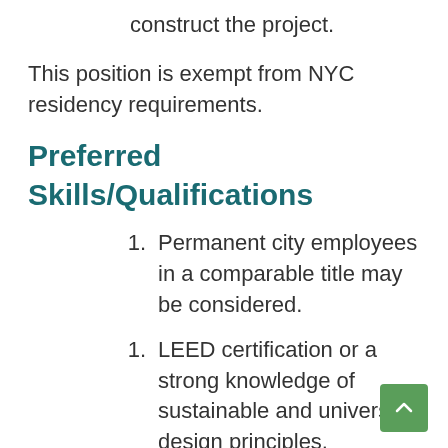construct the project.
This position is exempt from NYC residency requirements.
Preferred Skills/Qualifications
Permanent city employees in a comparable title may be considered.
LEED certification or a strong knowledge of sustainable and universal design principles.
At least one year leading a multidisciplinary team of